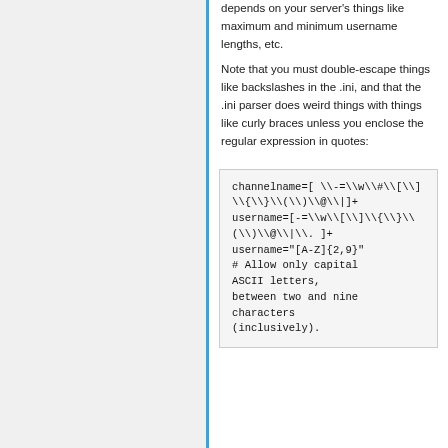depends on your server's things like maximum and minimum username lengths, etc.
Note that you must double-escape things like backslashes in the .ini, and that the .ini parser does weird things with things like curly braces unless you enclose the regular expression in quotes:
channelname=[ \-=\w\#\[\]\{\}\(\)\@\|]+ username=[-=\w\[\]\{\}\(\)\@\|\.]+ username="[A-Z]{2,9}" # Allow only capital ASCII letters, between two and nine characters (inclusively).